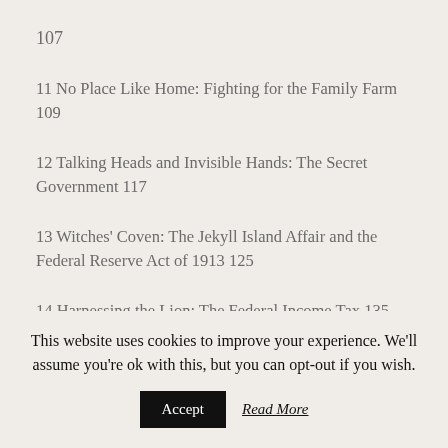107
11 No Place Like Home: Fighting for the Family Farm 109
12 Talking Heads and Invisible Hands: The Secret Government 117
13 Witches' Coven: The Jekyll Island Affair and the Federal Reserve Act of 1913 125
14 Harnessing the Lion: The Federal Income Tax 135
This website uses cookies to improve your experience. We'll assume you're ok with this, but you can opt-out if you wish.
Accept   Read More